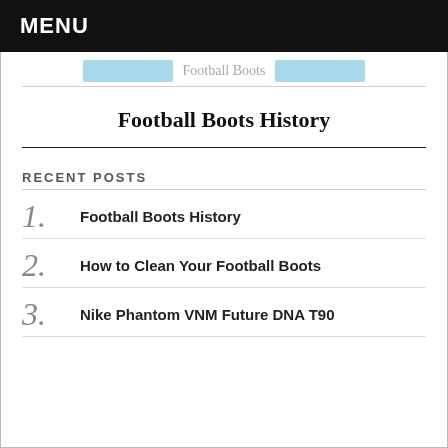MENU
Football Boots
Football Boots History
RECENT POSTS
1. Football Boots History
2. How to Clean Your Football Boots
3. Nike Phantom VNM Future DNA T90